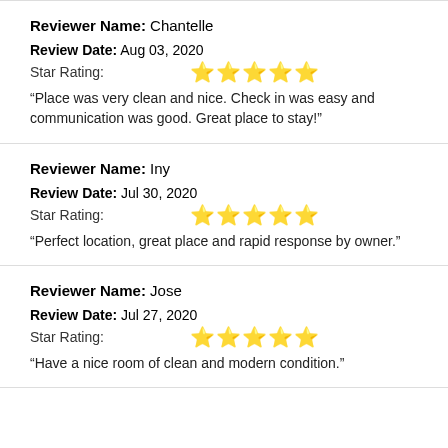Reviewer Name: Chantelle
Review Date: Aug 03, 2020
Star Rating: ★★★★★
“Place was very clean and nice. Check in was easy and communication was good. Great place to stay!”
Reviewer Name: Iny
Review Date: Jul 30, 2020
Star Rating: ★★★★★
“Perfect location, great place and rapid response by owner.”
Reviewer Name: Jose
Review Date: Jul 27, 2020
Star Rating: ★★★★★
“Have a nice room of clean and modern condition.”